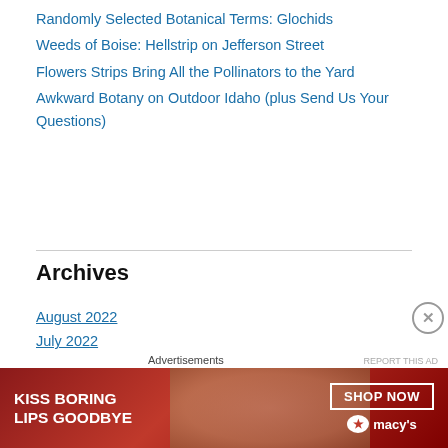Randomly Selected Botanical Terms: Glochids
Weeds of Boise: Hellstrip on Jefferson Street
Flowers Strips Bring All the Pollinators to the Yard
Awkward Botany on Outdoor Idaho (plus Send Us Your Questions)
Archives
August 2022
July 2022
June 2022
May 2022
March 2022
February 2022
January 2022
December 2021
[Figure (other): Advertisement banner: Kiss Boring Lips Goodbye - Shop Now - Macy's, with woman's face and red lips]